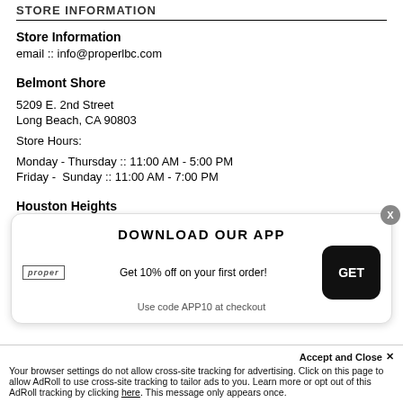STORE INFORMATION
Store Information
email :: info@properlbc.com
Belmont Shore
5209 E. 2nd Street
Long Beach, CA 90803
Store Hours:
Monday - Thursday :: 11:00 AM - 5:00 PM
Friday -  Sunday :: 11:00 AM - 7:00 PM
Houston Heights
250 W. 19th Street Suite C
Houston, TX 77008
[Figure (infographic): App download banner: DOWNLOAD OUR APP, Get 10% off on your first order!, Use code APP10 at checkout, with GET button and close X button]
Accept and Close ✕
Your browser settings do not allow cross-site tracking for advertising. Click on this page to allow AdRoll to use cross-site tracking to tailor ads to you. Learn more or opt out of this AdRoll tracking by clicking here. This message only appears once.